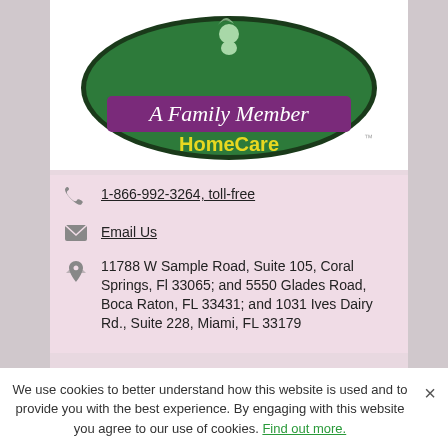[Figure (logo): A Family Member HomeCare logo — oval green background with a cartoon baby figure at top, purple banner reading 'A Family Member' in white script, and yellow 'HomeCare' text below on green oval, with TM mark]
1-866-992-3264, toll-free
Email Us
11788 W Sample Road, Suite 105, Coral Springs, Fl 33065; and 5550 Glades Road, Boca Raton, FL 33431; and 1031 Ives Dairy Rd., Suite 228, Miami, FL 33179
We use cookies to better understand how this website is used and to provide you with the best experience. By engaging with this website you agree to our use of cookies. Find out more.
These educational resources are brought to you by A Family...